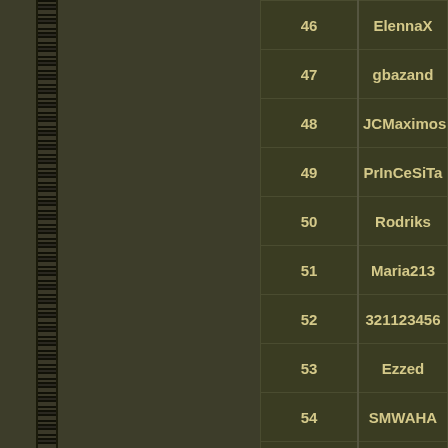| Rank | Player |
| --- | --- |
| 46 | ElennаX |
| 47 | gbazand |
| 48 | JCMaximos |
| 49 | PrInCeSiTa |
| 50 | Rodriks |
| 51 | Maria213 |
| 52 | 321123456 |
| 53 | Ezzed |
| 54 | SMWAHA |
| 55 | MerryPoPis |
| 56 | BLAKRR |
| 57 | AmaElfa |
| 58 | Otsuone |
| 59 | HEPAMIDA |
| 60 | Mikkaza |
| 61 | BestLuiso |
| 62 | jose34loco |
| 63 | MagoCaossX |
| 64 | ExeFc |
| 65 | KinghDaddy |